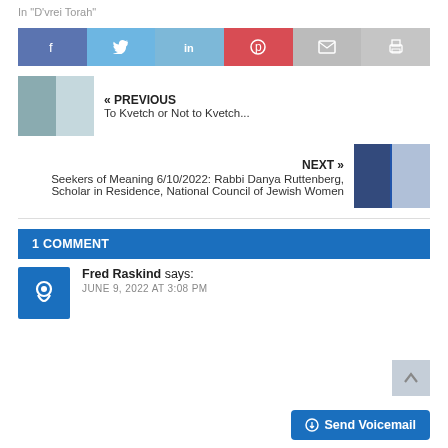In "D'vrei Torah"
[Figure (infographic): Social share buttons row: Facebook, Twitter, LinkedIn, Pinterest, Email, Print]
« PREVIOUS
To Kvetch or Not to Kvetch...
NEXT »
Seekers of Meaning 6/10/2022: Rabbi Danya Ruttenberg, Scholar in Residence, National Council of Jewish Women
1 COMMENT
Fred Raskind says:
JUNE 9, 2022 AT 3:08 PM